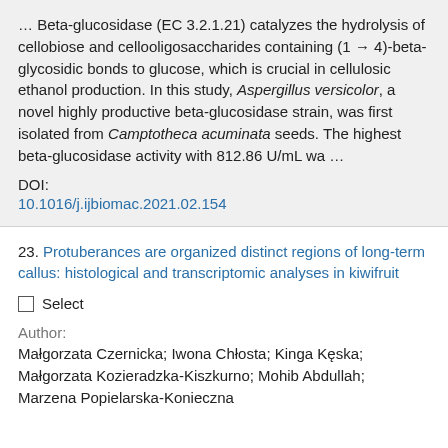… Beta-glucosidase (EC 3.2.1.21) catalyzes the hydrolysis of cellobiose and cellooligosaccharides containing (1 → 4)-beta-glycosidic bonds to glucose, which is crucial in cellulosic ethanol production. In this study, Aspergillus versicolor, a novel highly productive beta-glucosidase strain, was first isolated from Camptotheca acuminata seeds. The highest beta-glucosidase activity with 812.86 U/mL wa …
DOI:
10.1016/j.ijbiomac.2021.02.154
23. Protuberances are organized distinct regions of long-term callus: histological and transcriptomic analyses in kiwifruit
☐ Select
Author:
Małgorzata Czernicka; Iwona Chłosta; Kinga Kęska; Małgorzata Kozieradzka-Kiszkurno; Mohib Abdullah; Marzena Popielarska-Konieczna